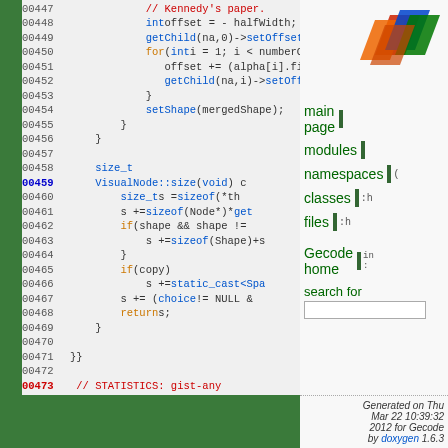[Figure (screenshot): Source code viewer showing C++ code for VisualNode::size function with line numbers 00447-00473, displayed in a Doxygen-generated documentation page with a sidebar showing navigation links (main page, modules, namespaces, classes, files, Gecode home, search) and a logo. Footer shows 'Generated on Thu Mar 22 10:39:32 2012 for Gecode by doxygen 1.6.3']